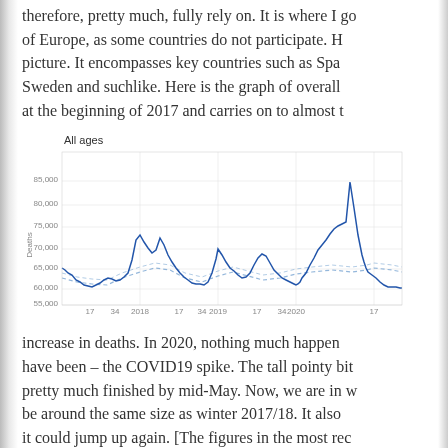therefore, pretty much, fully rely on. It is where I go of Europe, as some countries do not participate. It gives a good picture. It encompasses key countries such as Spain, Sweden and suchlike. Here is the graph of overall at the beginning of 2017 and carries on to almost t
[Figure (continuous-plot): Line chart titled 'All ages' showing weekly deaths over time from 2017 to 2020. Y-axis labeled 'Deaths' with values from approximately 55,000 to 85,000. X-axis shows week numbers (17, 34) and years (2018, 2019, 2020, 17). A solid blue line shows actual deaths with a large spike in 2020 reaching ~85,000, and a dashed blue line shows the expected/baseline deaths trend.]
increase in deaths. In 2020, nothing much happened have been – the COVID19 spike. The tall pointy bit pretty much finished by mid-May. Now, we are in be around the same size as winter 2017/18. It also it could jump up again. [The figures in the most rec take some time for all the data to arrive] Two thing spike'. Second, what we are seeing at present doe